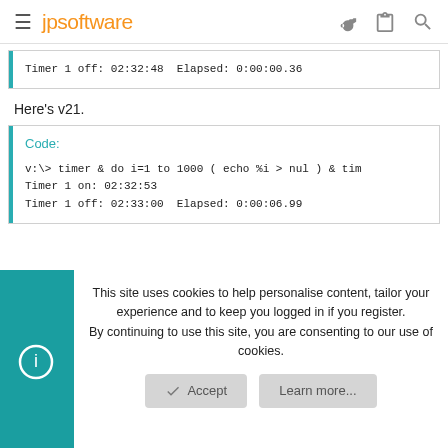jpsoftware
Code:
Timer 1 off: 02:32:48  Elapsed: 0:00:00.36
Here's v21.
Code:
v:\> timer & do i=1 to 1000 ( echo %i > nul ) & tim
Timer 1 on: 02:32:53
Timer 1 off: 02:33:00  Elapsed: 0:00:06.99
This site uses cookies to help personalise content, tailor your experience and to keep you logged in if you register.
By continuing to use this site, you are consenting to our use of cookies.